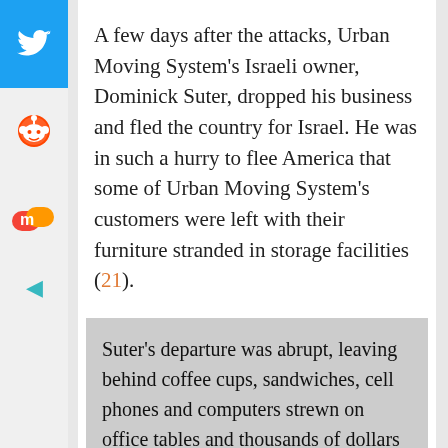A few days after the attacks, Urban Moving System's Israeli owner, Dominick Suter, dropped his business and fled the country for Israel. He was in such a hurry to flee America that some of Urban Moving System's customers were left with their furniture stranded in storage facilities (21).
Suter's departure was abrupt, leaving behind coffee cups, sandwiches, cell phones and computers strewn on office tables and thousands of dollars of goods in storage. Suter was later placed on the same FBI suspect list as 9/11 lead